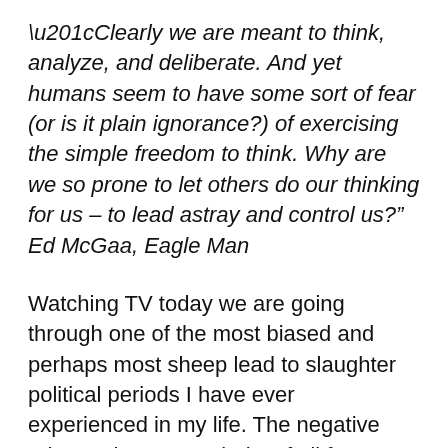“Clearly we are meant to think, analyze, and deliberate. And yet humans seem to have some sort of fear (or is it plain ignorance?) of exercising the simple freedom to think. Why are we so prone to let others do our thinking for us – to lead astray and control us?” Ed McGaa, Eagle Man
Watching TV today we are going through one of the most biased and perhaps most sheep lead to slaughter political periods I have ever experienced in my life. The negative ads are the vast majority of all from either side. Here in Atlanta several of the mega churches are going through serious upheavals with pastors who after years of preaching and blasting various human characteristics and or issues are coming out